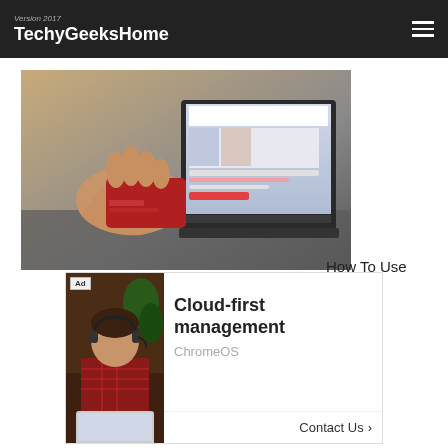Version 2017 TechyGeeksHome
[Figure (photo): Person holding a red credit card in front of a laptop showing an online shopping website]
How To Use
[Figure (other): Advertisement banner: Cloud-first management ChromeOS with Contact Us button. Ad label visible top left. Man with headset working on laptop shown on left side of ad.]